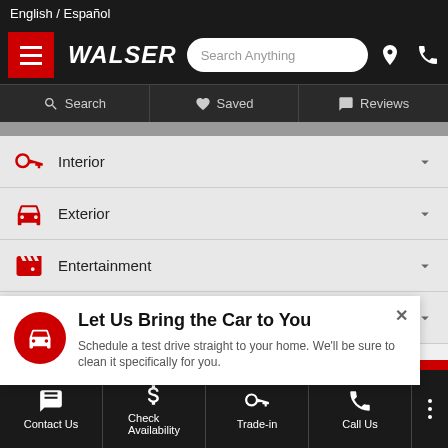English / Español
[Figure (screenshot): Walser automotive dealership website mobile screenshot showing navigation bar with hamburger menu, Walser logo, search bar, location and phone icons]
Search
Saved
Reviews
Interior
Exterior
Entertainment
Mechanical
Let Us Bring the Car to You
Schedule a test drive straight to your home. We'll be sure to clean it specifically for you.
Contact Us | Check Availability | Trade-in | Call Us